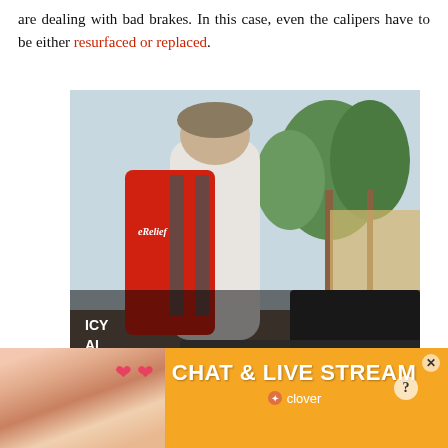are dealing with bad brakes. In this case, even the calipers have to be either resurfaced or replaced.
[Figure (photo): A man wearing a tank top and hat with a red/orange backpack labeled 'Relief', viewed from behind, appears to be in a disaster or relief zone with palm trees and debris in the background. A video player error overlay reads 'No compatible source was found for this media.' with a large X icon and a close button.]
[Figure (screenshot): Advertisement banner with orange background showing a woman in sunglasses on a beach with heart emojis, text 'CHAT & LIVE STREAM' in white bold letters, and Clover logo below.]